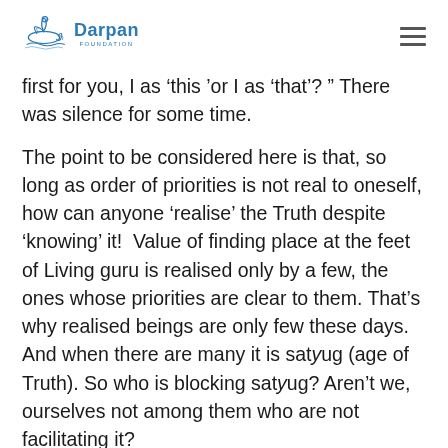Darpan Foundation
first for you, I as 'this 'or I as 'that'? " There was silence for some time.
The point to be considered here is that, so long as order of priorities is not real to oneself, how can anyone 'realise' the Truth despite 'knowing' it!  Value of finding place at the feet of Living guru is realised only by a few, the ones whose priorities are clear to them. That's why realised beings are only few these days.  And when there are many it is satyug (age of Truth). So who is blocking satyug? Aren't we, ourselves not among them who are not facilitating it?